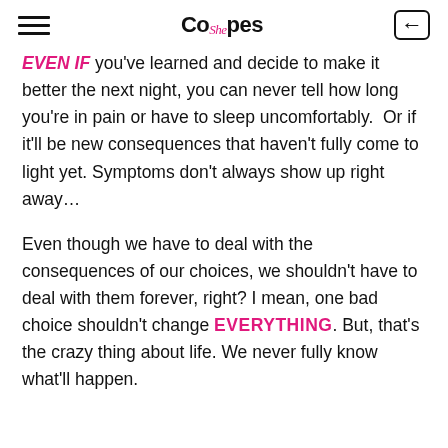She Copes
EVEN IF you've learned and decide to make it better the next night, you can never tell how long you're in pain or have to sleep uncomfortably.  Or if it'll be new consequences that haven't fully come to light yet. Symptoms don't always show up right away…

Even though we have to deal with the consequences of our choices, we shouldn't have to deal with them forever, right? I mean, one bad choice shouldn't change EVERYTHING. But, that's the crazy thing about life. We never fully know what'll happen.